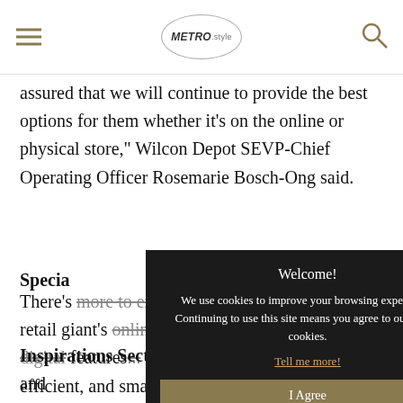METRO.style
assured that we will continue to provide the best options for them whether it's on the online or physical store," Wilcon Depot SEVP-Chief Operating Officer Rosemarie Bosch-Ong said.
Special...
There's more to explore and experience with the retail giant's online store. With the advanced digital features... is simply a better, easier, more efficient, and smarter way of making purchases. Online home shoppers can discover exciting features including:
[Figure (screenshot): Cookie consent modal with dark background reading: Welcome! We use cookies to improve your browsing experience. Continuing to use this site means you agree to our use of cookies. With a Tell me more! link and an I Agree button in tan/gold color.]
Inspirations Section: This section provides ideas and